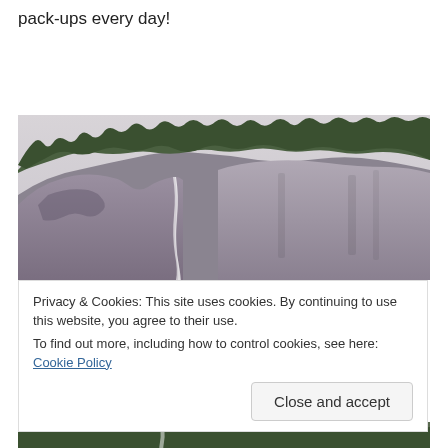pack-ups every day!
[Figure (photo): Rocky mountain cliff face covered with conifer trees and a waterfall, misty overcast sky]
Privacy & Cookies: This site uses cookies. By continuing to use this website, you agree to their use.
To find out more, including how to control cookies, see here: Cookie Policy
Close and accept
[Figure (photo): Bottom portion of rocky mountain with trees and waterfall, continuation of upper photo]